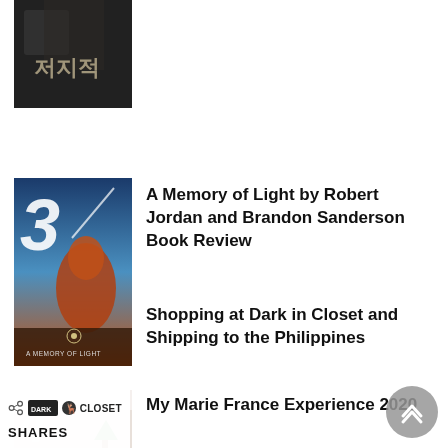[Figure (photo): Partial top of a book/game cover with Korean text, dark fantasy style, partially cropped]
[Figure (photo): Book cover: A Memory of Light by Robert Jordan and Brandon Sanderson, numbered 3]
A Memory of Light by Robert Jordan and Brandon Sanderson Book Review
[Figure (photo): Photo of a Marie France clinic interior with a decorated Christmas tree, numbered 4]
My Marie France Experience 2020
[Figure (photo): Dark in Closet shopping logo/icon, partially visible]
Shopping at Dark in Closet and Shipping to the Philippines
SHARES